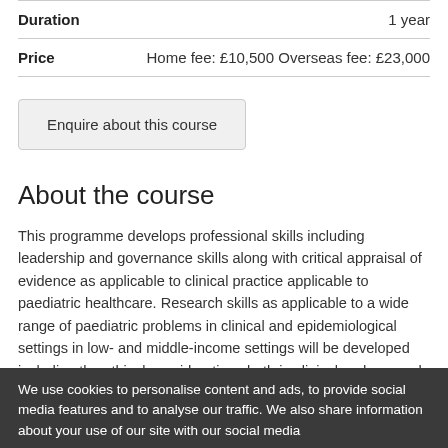| Field | Value |
| --- | --- |
| Duration | 1 year |
| Price | Home fee: £10,500 Overseas fee: £23,000 |
Enquire about this course
About the course
This programme develops professional skills including leadership and governance skills along with critical appraisal of evidence as applicable to clinical practice applicable to paediatric healthcare. Research skills as applicable to a wide range of paediatric problems in clinical and epidemiological settings in low- and middle-income settings will be developed including the ethical considerations both in clinical and research practice. Emphasis is given to the scientific and empiric evidence for diagnosis, management and control of
We use cookies to personalise content and ads, to provide social media features and to analyse our traffic. We also share information about your use of our site with our social media